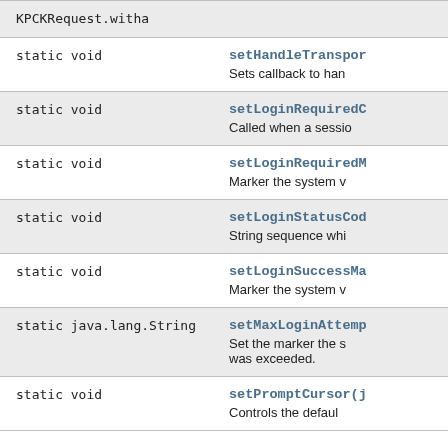| Type | Method / Description |
| --- | --- |
| static void | setHandleTranspor...
Sets callback to han... |
| static void | setLoginRequiredC...
Called when a sessio... |
| static void | setLoginRequiredM...
Marker the system v... |
| static void | setLoginStatusCod...
String sequence whi... |
| static void | setLoginSuccessMa...
Marker the system v... |
| static java.lang.String | setMaxLoginAttemp...
Set the marker the s... was exceeded. |
| static void | setPromptCursor(j...
Controls the defaul... |